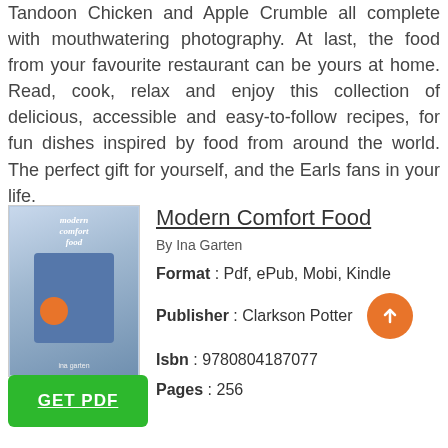Tandoon Chicken and Apple Crumble all complete with mouthwatering photography. At last, the food from your favourite restaurant can be yours at home. Read, cook, relax and enjoy this collection of delicious, accessible and easy-to-follow recipes, for fun dishes inspired by food from around the world. The perfect gift for yourself, and the Earls fans in your life.
Modern Comfort Food
By Ina Garten
Format : Pdf, ePub, Mobi, Kindle
Publisher : Clarkson Potter
Isbn : 9780804187077
Pages : 256
[Figure (photo): Book cover of Modern Comfort Food by Ina Garten]
[Figure (other): GET PDF button (green rectangle with white underlined text)]
[Figure (other): Orange circular upload/arrow button]